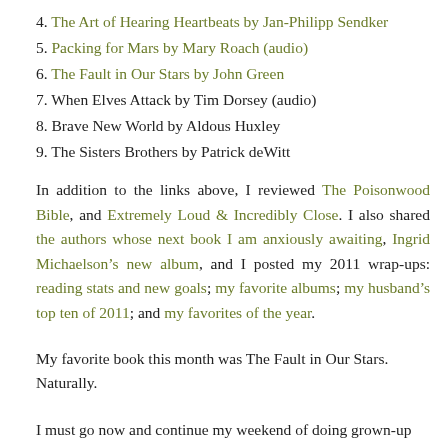4. The Art of Hearing Heartbeats by Jan-Philipp Sendker
5. Packing for Mars by Mary Roach (audio)
6. The Fault in Our Stars by John Green
7. When Elves Attack by Tim Dorsey (audio)
8. Brave New World by Aldous Huxley
9. The Sisters Brothers by Patrick deWitt
In addition to the links above, I reviewed The Poisonwood Bible, and Extremely Loud & Incredibly Close. I also shared the authors whose next book I am anxiously awaiting, Ingrid Michaelson’s new album, and I posted my 2011 wrap-ups: reading stats and new goals; my favorite albums; my husband’s top ten of 2011; and my favorites of the year.
My favorite book this month was The Fault in Our Stars. Naturally.
I must go now and continue my weekend of doing grown-up things